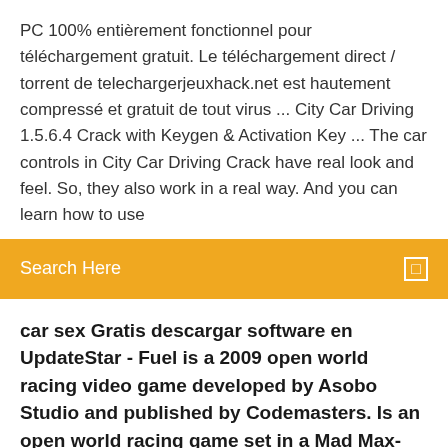PC 100% entièrement fonctionnel pour téléchargement gratuit. Le téléchargement direct / torrent de telechargerjeuxhack.net est hautement compressé et gratuit de tout virus ... City Car Driving 1.5.6.4 Crack with Keygen & Activation Key ... The car controls in City Car Driving Crack have real look and feel. So, they also work in a real way. And you can learn how to use
[Figure (screenshot): Orange search bar with 'Search Here' placeholder text and a small square icon on the right]
car sex Gratis descargar software en UpdateStar - Fuel is a 2009 open world racing video game developed by Asobo Studio and published by Codemasters. Is an open world racing game set in a Mad Max-like post-apocalyptic world ravaged by...
Une version demo vous permet de mieux apprécier les possibilités du logiciel [...] avec le logiciel flexible fmcsauvegardeplus vous définissez simplement les répertoires/fichiers que vous voulez sauvegarder , il vous